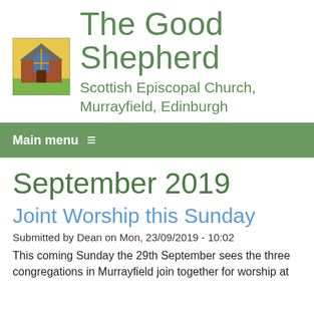[Figure (illustration): Stained glass style illustration of a church building with arched window, brown/red tones with yellow sky background]
The Good Shepherd
Scottish Episcopal Church, Murrayfield, Edinburgh
Main menu ≡
September 2019
Joint Worship this Sunday
Submitted by Dean on Mon, 23/09/2019 - 10:02
This coming Sunday the 29th September sees the three congregations in Murrayfield join together for worship at